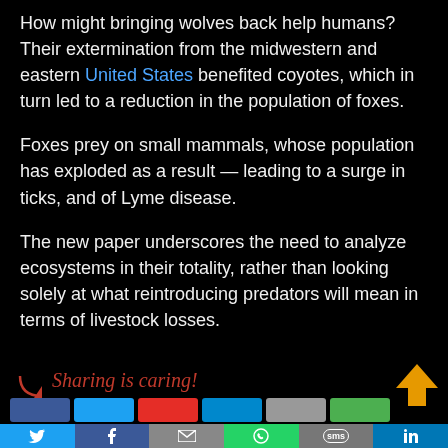How might bringing wolves back help humans? Their extermination from the midwestern and eastern United States benefited coyotes, which in turn led to a reduction in the population of foxes.
Foxes prey on small mammals, whose population has exploded as a result — leading to a surge in ticks, and of Lyme disease.
The new paper underscores the need to analyze ecosystems in their totality, rather than looking solely at what reintroducing predators will mean in terms of livestock losses.
[Figure (infographic): Sharing is caring social share bar with Twitter, Facebook, Email, WhatsApp, SMS, and LinkedIn buttons, and an upward orange arrow icon.]